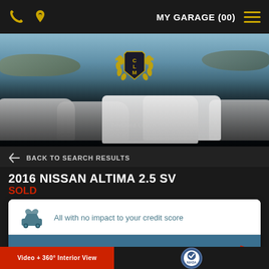MY GARAGE (00)
[Figure (photo): Hero banner showing multiple white luxury cars parked near the ocean with CLM dealer logo overlay in the center]
BACK TO SEARCH RESULTS
2016 NISSAN ALTIMA 2.5 SV
SOLD
All with no impact to your credit score
Estimate financing
Video + 360° Interior View